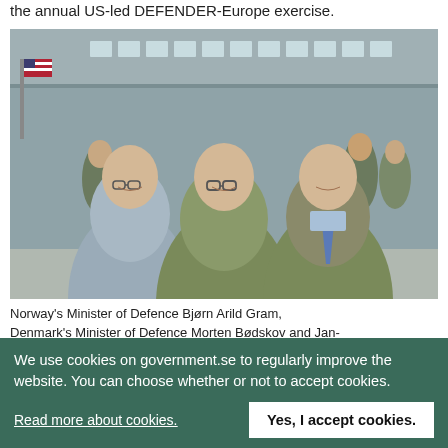the annual US-led DEFENDER-Europe exercise.
[Figure (photo): Three men standing together in a military hangar with soldiers and military vehicles in the background. Left man wears a grey zip jacket, center man wears an olive/khaki jacket, right man wears camouflage jacket with a blue tie. An American flag is partially visible on the left.]
Norway's Minister of Defence Bjørn Arild Gram, Denmark's Minister of Defence Morten Bødskov and Jan-
We use cookies on government.se to regularly improve the website. You can choose whether or not to accept cookies.
Read more about cookies.
Yes, I accept cookies.